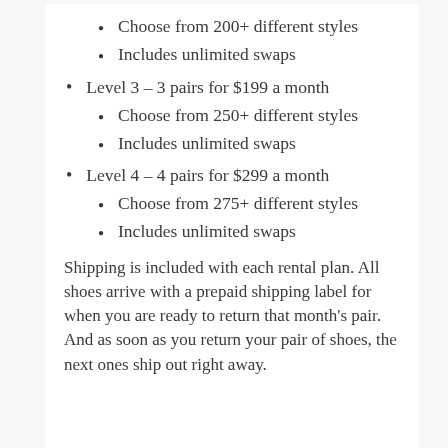Choose from 200+ different styles
Includes unlimited swaps
Level 3 – 3 pairs for $199 a month
Choose from 250+ different styles
Includes unlimited swaps
Level 4 – 4 pairs for $299 a month
Choose from 275+ different styles
Includes unlimited swaps
Shipping is included with each rental plan. All shoes arrive with a prepaid shipping label for when you are ready to return that month's pair. And as soon as you return your pair of shoes, the next ones ship out right away.